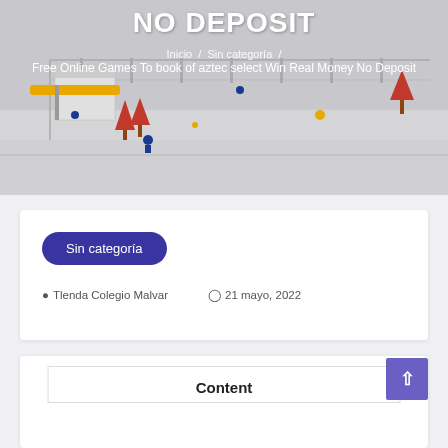NO DEPOSIT
Inicio / Sin categoría /
Free Online Games To book of aztec select Win Real Money No Deposit
Sin categoría
Tlenda Colegio Malvar   21 mayo, 2022
Content